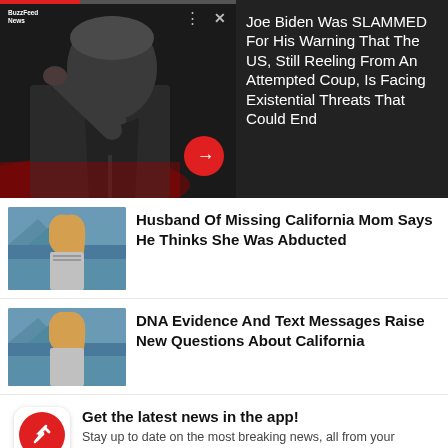[Figure (screenshot): Video thumbnail of Joe Biden speaking at podium, pointing with one finger, dark background with red accent at bottom. BuzzFeed News logo top left, controls top right. Red circular play/arrow button at bottom right of video.]
Joe Biden Was SLAMMED For His Warning That The US, Still Reeling From An Attempted Coup, Is Facing Existential Threats That Could End
[Figure (photo): Thumbnail photo of a woman with long blonde hair outdoors near a lake/reservoir with mountains in background.]
Husband Of Missing California Mom Says He Thinks She Was Abducted
[Figure (photo): Thumbnail photo of a woman with long blonde hair outdoors near a lake/reservoir with mountains in background.]
DNA Evidence And Text Messages Raise New Questions About California
Get the latest news in the app! Stay up to date on the most breaking news, all from your BuzzFeed app.
Maybe later
Get the app